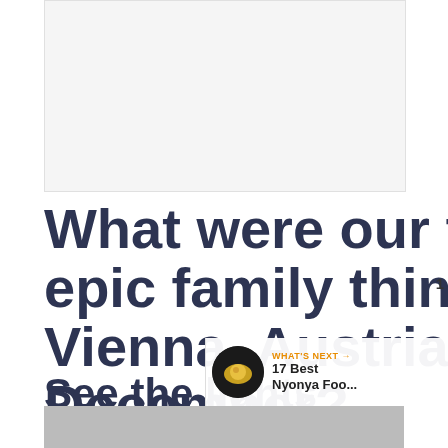[Figure (other): Advertisement banner placeholder, light gray background]
What were our five most epic family things to do in Vienna, Austria in December?
See the lights
[Figure (other): Heart/like button (blue circle with heart icon), share button below it, count '1']
[Figure (other): WHAT'S NEXT arrow label in orange, thumbnail of food image, text '17 Best Nyonya Foo...']
[Figure (photo): Partial photo visible at bottom of page, appears to show a street or building scene]